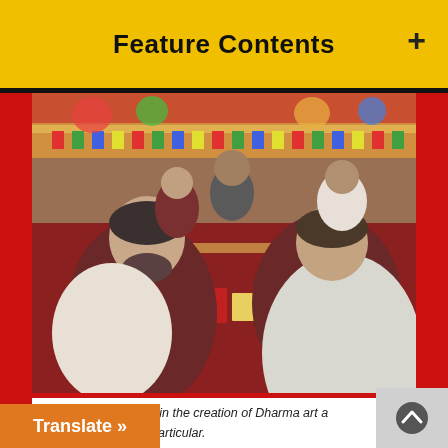Feature Contents
[Figure (photo): Two people in maroon robes sitting at low wooden tables during a Buddhist ceremony or teaching event, with colorful Tibetan thangka paintings and prayer flags decorating the background.]
Tradition is important in the creation of Dharma art a[nd] vajra implements in particular.